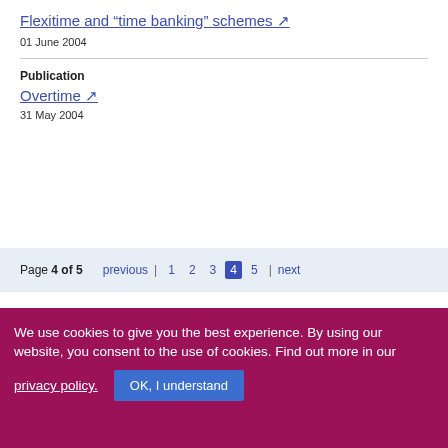Flexitime and “time banking” schemes ↗
01 June 2004
Publication
Overtime ↗
31 May 2004
Page 4 of 5  previous | 1  2  3  4  5 | next
We use cookies to give you the best experience. By using our website, you consent to the use of cookies. Find out more in our privacy policy.
OK, I understand